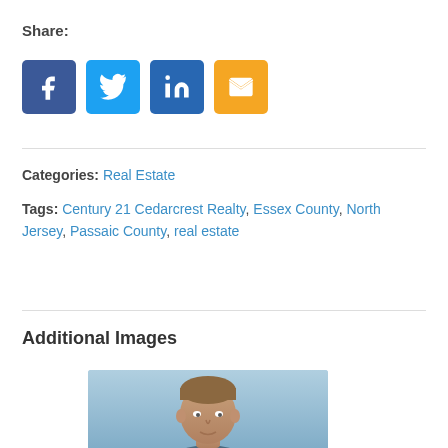Share:
[Figure (infographic): Four social media share buttons: Facebook (blue), Twitter (light blue), LinkedIn (dark blue), Email (yellow/gold)]
Categories: Real Estate
Tags: Century 21 Cedarcrest Realty, Essex County, North Jersey, Passaic County, real estate
Additional Images
[Figure (photo): Headshot of a man, blue/grey background]